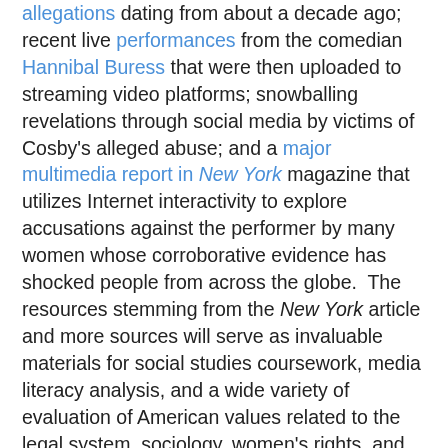allegations dating from about a decade ago; recent live performances from the comedian Hannibal Buress that were then uploaded to streaming video platforms; snowballing revelations through social media by victims of Cosby's alleged abuse; and a major multimedia report in New York magazine that utilizes Internet interactivity to explore accusations against the performer by many women whose corroborative evidence has shocked people from across the globe.  The resources stemming from the New York article and more sources will serve as invaluable materials for social studies coursework, media literacy analysis, and a wide variety of evaluation of American values related to the legal system, sociology, women's rights, and psychology in the months and years to come.  Finally, as direct primary resources that utilize digital media to express ideas, the streaming video testimonials set up to accompany the article by Noreen